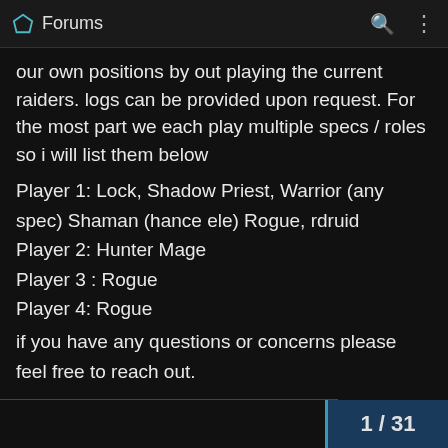Forums
our own positions by out playing the current raiders. logs can be provided upon request. For the most part we each play multiple specs / roles so i will list them below
Player 1: Lock, Shadow Priest, Warrior (any spec) Shaman (hance ele) Rogue, rdruid
Player 2: Hunter Mage
Player 3 : Rogue
Player 4: Rogue
if you have any questions or concerns please feel free to reach out.
Btag: Party#1147
1 / 31